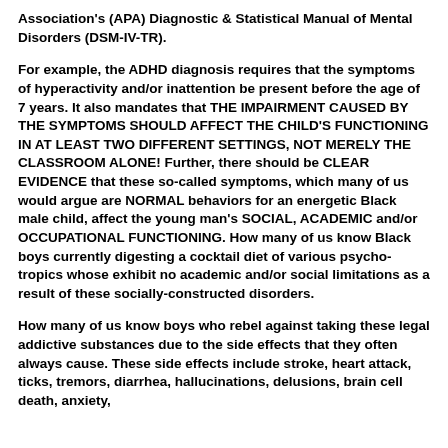Association's (APA) Diagnostic & Statistical Manual of Mental Disorders (DSM-IV-TR).
For example, the ADHD diagnosis requires that the symptoms of hyperactivity and/or inattention be present before the age of 7 years. It also mandates that THE IMPAIRMENT CAUSED BY THE SYMPTOMS SHOULD AFFECT THE CHILD'S FUNCTIONING IN AT LEAST TWO DIFFERENT SETTINGS, NOT MERELY THE CLASSROOM ALONE! Further, there should be CLEAR EVIDENCE that these so-called symptoms, which many of us would argue are NORMAL behaviors for an energetic Black male child, affect the young man's SOCIAL, ACADEMIC and/or OCCUPATIONAL FUNCTIONING. How many of us know Black boys currently digesting a cocktail diet of various psycho-tropics whose exhibit no academic and/or social limitations as a result of these socially-constructed disorders.
How many of us know boys who rebel against taking these legal addictive substances due to the side effects that they often always cause. These side effects include stroke, heart attack, ticks, tremors, diarrhea, hallucinations, delusions, brain cell death, anxiety,